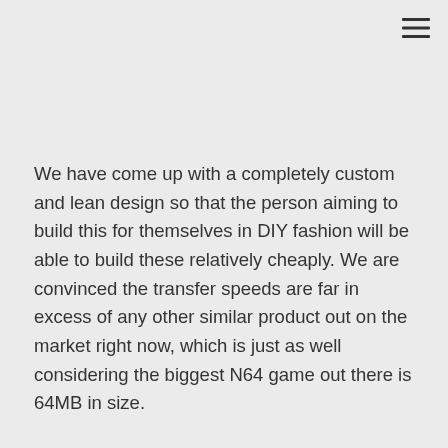≡
We have come up with a completely custom and lean design so that the person aiming to build this for themselves in DIY fashion will be able to build these relatively cheaply. We are convinced the transfer speeds are far in excess of any other similar product out on the market right now, which is just as well considering the biggest N64 game out there is 64MB in size.